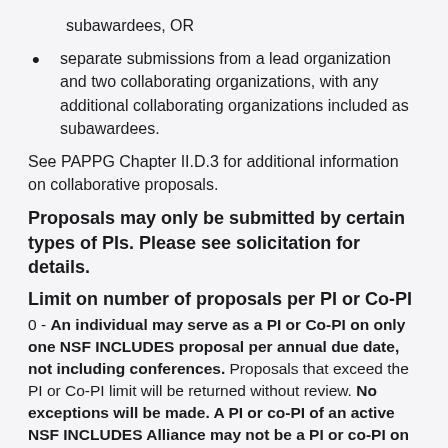subawardees, OR
separate submissions from a lead organization and two collaborating organizations, with any additional collaborating organizations included as subawardees.
See PAPPG Chapter II.D.3 for additional information on collaborative proposals.
Proposals may only be submitted by certain types of PIs. Please see solicitation for details.
Limit on number of proposals per PI or Co-PI
0 - An individual may serve as a PI or Co-PI on only one NSF INCLUDES proposal per annual due date, not including conferences. Proposals that exceed the PI or Co-PI limit will be returned without review. No exceptions will be made.  A PI or co-PI of an active NSF INCLUDES Alliance may not be a PI or co-PI on a proposal under this solicitation, if the Alliance would